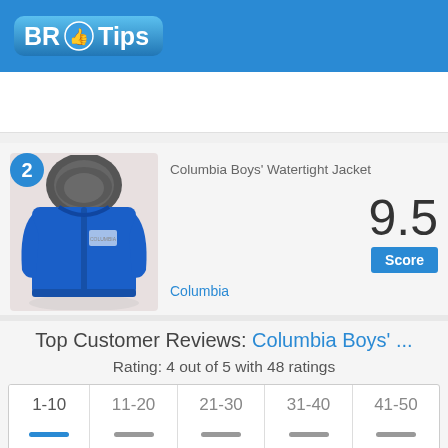BR Tips
[Figure (logo): BR Tips logo with blue thumbs-up icon]
[Figure (photo): Blue Columbia Boys Watertight Jacket with hood]
Columbia Boys' Watertight Jacket
9.5
Score
Columbia
Top Customer Reviews: Columbia Boys' ...
Rating: 4 out of 5 with 48 ratings
| 1-10 | 11-20 | 21-30 | 31-40 | 41-50 |
| --- | --- | --- | --- | --- |
| — | — | — | — | — |